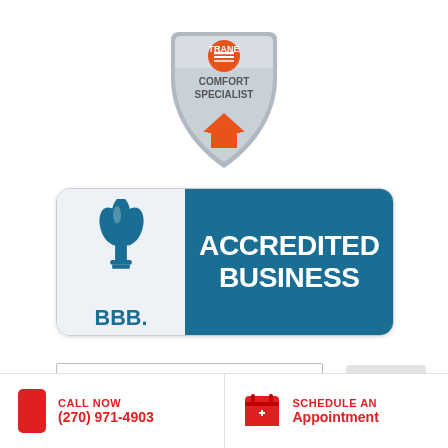[Figure (logo): Trane Comfort Specialist shield badge logo with orange Trane logo at top and orange house icon at bottom center]
[Figure (logo): BBB Accredited Business badge with blue flame torch logo on light grey left panel marked 'BBB.' and 'ACCREDITED BUSINESS' text on dark teal right panel]
[Figure (screenshot): Search input box and Search button]
CALL NOW (270) 971-4903
SCHEDULE AN Appointment